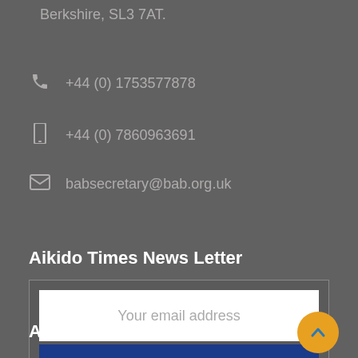Berkshire, SL3 7AT.
+44 (0) 1753577878
+44 (0) 7860963691
babsecretary@bab.org.uk
Aikido Times News Letter
Your email address
Aikido Times Subscribe
Administration